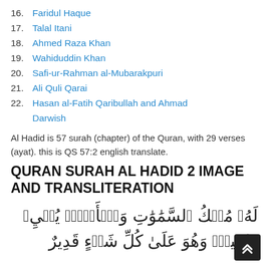16. Faridul Haque
17. Talal Itani
18. Ahmed Raza Khan
19. Wahiduddin Khan
20. Safi-ur-Rahman al-Mubarakpuri
21. Ali Quli Qarai
22. Hasan al-Fatih Qaribullah and Ahmad Darwish
Al Hadid is 57 surah (chapter) of the Quran, with 29 verses (ayat). this is QS 57:2 english translate.
QURAN SURAH AL HADID 2 IMAGE AND TRANSLITERATION
لَهُۥ مُلۡكُ ٱلسَّمَٰوَٰتِ وَٱلۡأَرۡضِۖ يُحۡيِۦ وَيُمِيتُۖ وَهُوَ عَلَىٰ كُلِّ شَيۡءٍ قَدِيرٌ